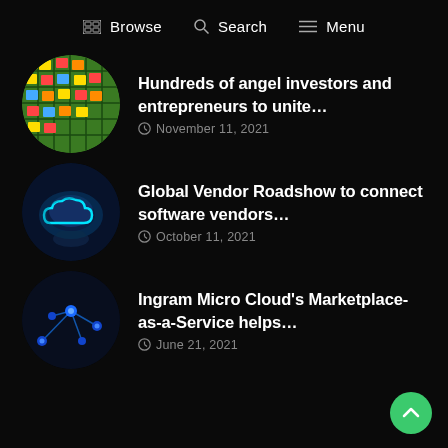Browse   Search   Menu
Hundreds of angel investors and entrepreneurs to unite…
November 11, 2021
Global Vendor Roadshow to connect software vendors…
October 11, 2021
Ingram Micro Cloud's Marketplace-as-a-Service helps…
June 21, 2021